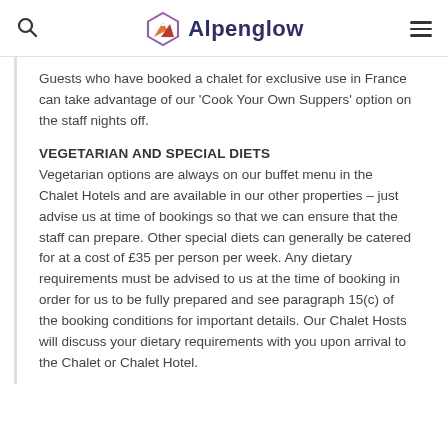Alpenglow
Guests who have booked a chalet for exclusive use in France can take advantage of our 'Cook Your Own Suppers' option on the staff nights off.
VEGETARIAN AND SPECIAL DIETS
Vegetarian options are always on our buffet menu in the Chalet Hotels and are available in our other properties – just advise us at time of bookings so that we can ensure that the staff can prepare. Other special diets can generally be catered for at a cost of £35 per person per week. Any dietary requirements must be advised to us at the time of booking in order for us to be fully prepared and see paragraph 15(c) of the booking conditions for important details. Our Chalet Hosts will discuss your dietary requirements with you upon arrival to the Chalet or Chalet Hotel.